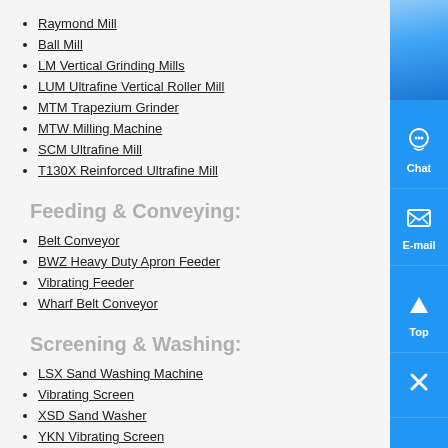Raymond Mill
Ball Mill
LM Vertical Grinding Mills
LUM Ultrafine Vertical Roller Mill
MTM Trapezium Grinder
MTW Milling Machine
SCM Ultrafine Mill
T130X Reinforced Ultrafine Mill
Feeding & Conveying:
Belt Conveyor
BWZ Heavy Duty Apron Feeder
Vibrating Feeder
Wharf Belt Conveyor
Screening & Washing:
LSX Sand Washing Machine
Vibrating Screen
XSD Sand Washer
YKN Vibrating Screen